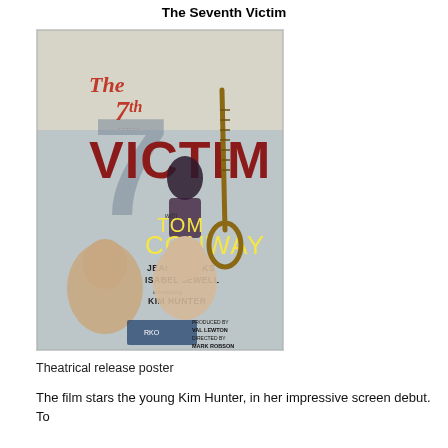The Seventh Victim
[Figure (photo): Theatrical release poster for 'The 7th Victim' featuring Tom Conway, Jean Brooks, Isabel Jewell, and Kim Hunter. Red stylized text reads 'The 7th Victim'. Shows illustrated figures of a man, a woman holding a rope noose, and a dark-haired woman in the background. Credits: Produced by Val Lewton, Directed by Mark Robson.]
Theatrical release poster
The film stars the young Kim Hunter, in her impressive screen debut. To